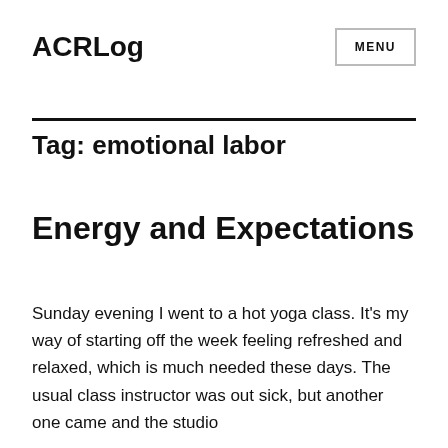ACRLog
Tag: emotional labor
Energy and Expectations
Sunday evening I went to a hot yoga class. It's my way of starting off the week feeling refreshed and relaxed, which is much needed these days. The usual class instructor was out sick, but another one came and the studio...